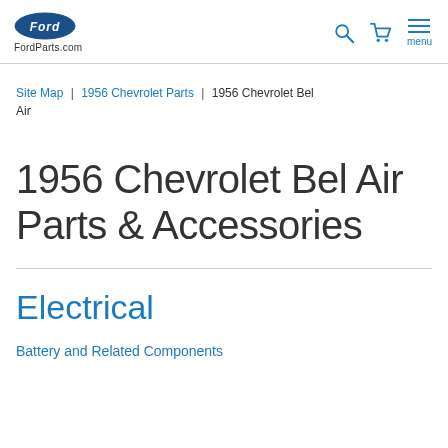FordParts.com
Site Map | 1956 Chevrolet Parts | 1956 Chevrolet Bel Air
1956 Chevrolet Bel Air Parts & Accessories
Electrical
Battery and Related Components